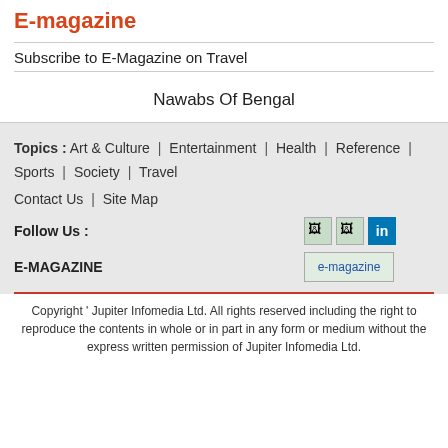E-magazine
Subscribe to E-Magazine on Travel
Nawabs Of Bengal
Topics :  Art & Culture  |  Entertainment  |  Health  |  Reference  |  Sports  |  Society  |  Travel
Contact Us  |  Site Map
Follow Us :
E-MAGAZINE
Copyright ' Jupiter Infomedia Ltd. All rights reserved including the right to reproduce the contents in whole or in part in any form or medium without the express written permission of Jupiter Infomedia Ltd.